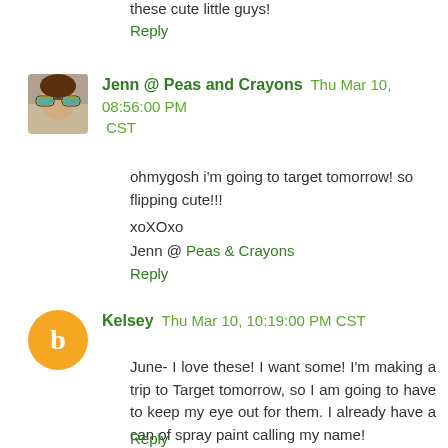these cute little guys!
Reply
Jenn @ Peas and Crayons  Thu Mar 10, 08:56:00 PM CST
ohmygosh i'm going to target tomorrow! so flipping cute!!!

xoXOxo
Jenn @ Peas & Crayons
Reply
Kelsey  Thu Mar 10, 10:19:00 PM CST
June- I love these! I want some! I'm making a trip to Target tomorrow, so I am going to have to keep my eye out for them. I already have a can of spray paint calling my name!
Reply